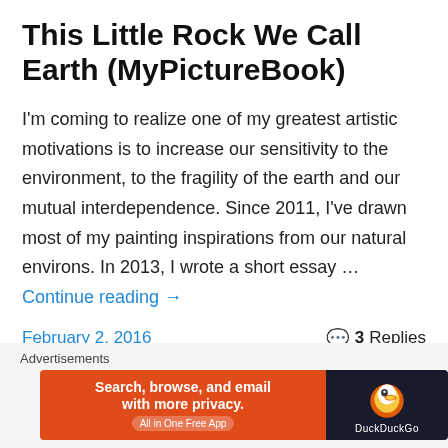This Little Rock We Call Earth (MyPictureBook)
I'm coming to realize one of my greatest artistic motivations is to increase our sensitivity to the environment, to the fragility of the earth and our mutual interdependence. Since 2011, I've drawn most of my painting inspirations from our natural environs. In 2013, I wrote a short essay … Continue reading →
February 2, 2016   3 Replies
Happy New Year!
Advertisements
[Figure (screenshot): DuckDuckGo advertisement banner: orange left panel with text 'Search, browse, and email with more privacy. All in One Free App' and dark right panel with DuckDuckGo logo]